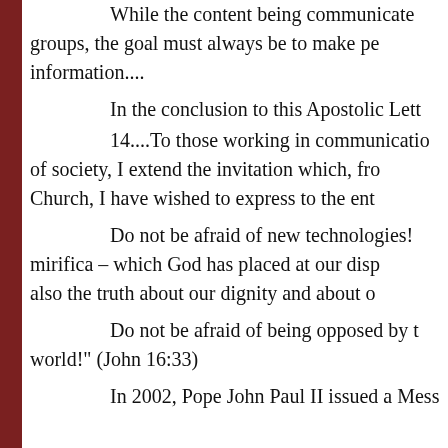While the content being communicated groups, the goal must always be to make pe information....
In the conclusion to this Apostolic Lett
14....To those working in communicatio of society, I extend the invitation which, fro Church, I have wished to express to the ent
Do not be afraid of new technologies! mirifica – which God has placed at our disp also the truth about our dignity and about o
Do not be afraid of being opposed by t world!" (John 16:33)
In 2002, Pope John Paul II issued a Mess